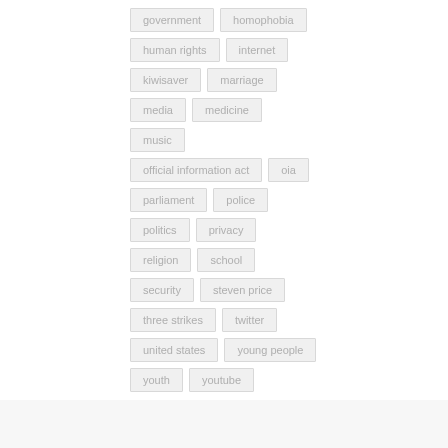government
homophobia
human rights
internet
kiwisaver
marriage
media
medicine
music
official information act
oia
parliament
police
politics
privacy
religion
school
security
steven price
three strikes
twitter
united states
young people
youth
youtube
ARCHIVES
April 2020
November 2018